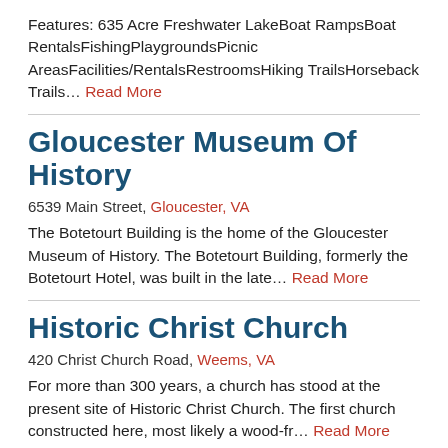Features: 635 Acre Freshwater LakeBoat RampsBoat RentalsFishingPlaygroundsPicnic AreasFacilities/RentalsRestroomsHiking TrailsHorseback Trails… Read More
Gloucester Museum Of History
6539 Main Street, Gloucester, VA
The Botetourt Building is the home of the Gloucester Museum of History. The Botetourt Building, formerly the Botetourt Hotel, was built in the late… Read More
Historic Christ Church
420 Christ Church Road, Weems, VA
For more than 300 years, a church has stood at the present site of Historic Christ Church. The first church constructed here, most likely a wood-fr… Read More